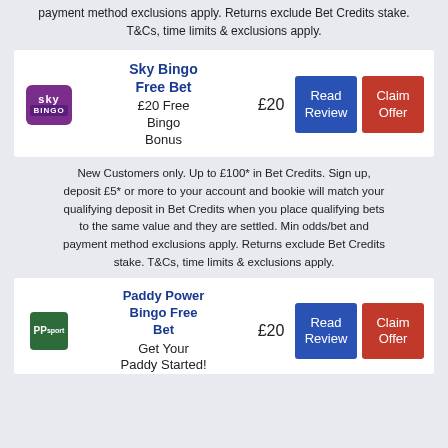payment method exclusions apply. Returns exclude Bet Credits stake. T&Cs, time limits & exclusions apply.
Sky Bingo Free Bet
£20 Free Bingo Bonus
£20
Read Review
Claim Offer
New Customers only. Up to £100* in Bet Credits. Sign up, deposit £5* or more to your account and bookie will match your qualifying deposit in Bet Credits when you place qualifying bets to the same value and they are settled. Min odds/bet and payment method exclusions apply. Returns exclude Bet Credits stake. T&Cs, time limits & exclusions apply.
Paddy Power Bingo Free Bet
Get Your Paddy Started!
£20
Read Review
Claim Offer